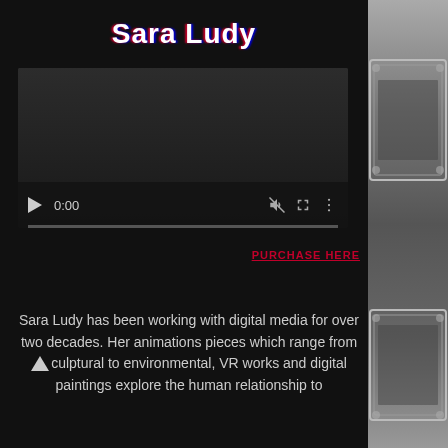Sara Ludy
[Figure (screenshot): Video player with dark background, showing 0:00 timestamp, play button, mute icon, fullscreen icon, and more options icon with progress bar at bottom]
PURCHASE HERE
Sara Ludy has been working with digital media for over two decades. Her animations pieces which range from sculptural to environmental, VR works and digital paintings explore the human relationship to